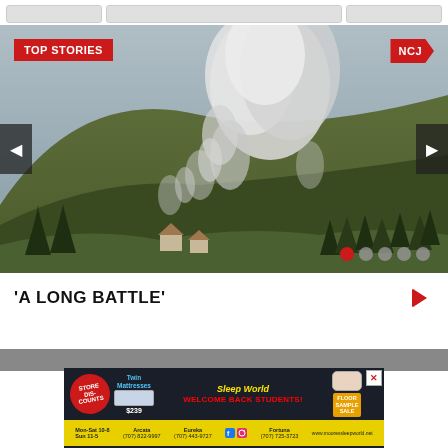[Navigation buttons row]
[Figure (photo): Wildfire smoke rising from a forested hillside with trees and houses visible below. Overlays include a 'TOP STORIES' red badge on top left, 'NCJ' logo badge on top right, left/right navigation arrows, and five dot indicators at bottom right (first dot active/red).]
'A LONG BATTLE'
[Figure (other): Moore's Sleep World advertisement banner: shows store discount stickers, Twin Mattresses for $239, 'WELCOME BACK STUDENTS!' text, pillow image, floor sample sale badge, store hours and locations (Arcata, Eureka, Fortuna), social media icons, and website www.mooressleepworld.net]